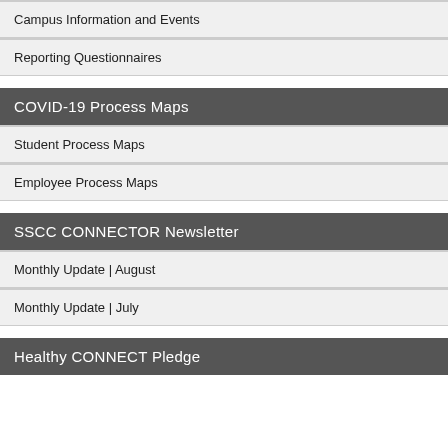Campus Information and Events
Reporting Questionnaires
COVID-19 Process Maps
Student Process Maps
Employee Process Maps
SSCC CONNECTOR Newsletter
Monthly Update | August
Monthly Update | July
Healthy CONNECT Pledge